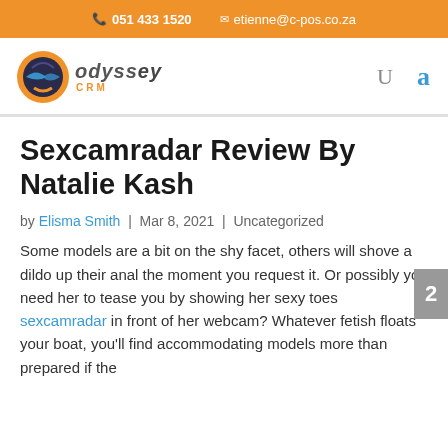📞 051 433 1520   ✉ etienne@c-pos.co.za
[Figure (logo): Odyssey CRM logo with globe icon and stylized text]
Sexcamradar Review By Natalie Kash
by Elisma Smith | Mar 8, 2021 | Uncategorized
Some models are a bit on the shy facet, others will shove a dildo up their anal the moment you request it. Or possibly you need her to tease you by showing her sexy toes sexcamradar in front of her webcam? Whatever fetish floats your boat, you'll find accommodating models more than prepared if the